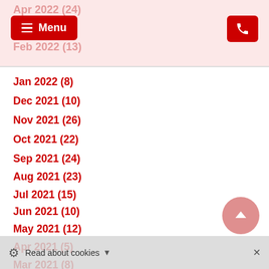Apr 2022 (24) | Feb 2022 (13) — navigation header with Menu button and phone icon
Jan 2022 (8)
Dec 2021 (10)
Nov 2021 (26)
Oct 2021 (22)
Sep 2021 (24)
Aug 2021 (23)
Jul 2021 (15)
Jun 2021 (10)
May 2021 (12)
Apr 2021 (5)
Mar 2021 (8)
Feb 2021 (10)
Jan 2021 (7)
Dec 2020 (12)
Nov 2020 (7)
Oct 2020 (7)
Read about cookies